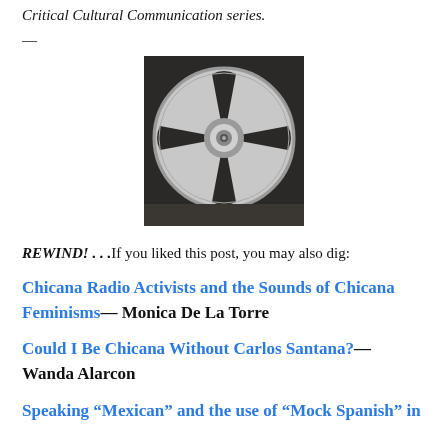Critical Cultural Communication series.
—
[Figure (photo): A silver reel-to-reel tape spool photographed against a dark background.]
REWIND! . . .If you liked this post, you may also dig:
Chicana Radio Activists and the Sounds of Chicana Feminisms— Monica De La Torre
Could I Be Chicana Without Carlos Santana?— Wanda Alarcon
Speaking “Mexican” and the use of “Mock Spanish” in